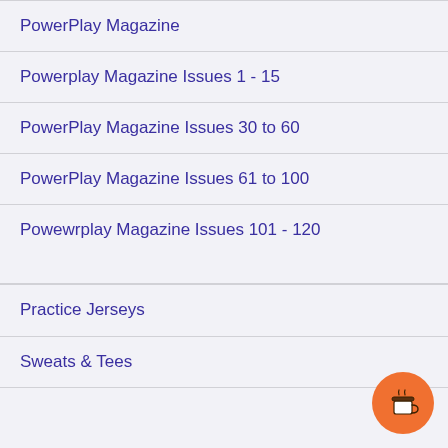PowerPlay Magazine
Powerplay Magazine Issues 1 - 15
PowerPlay Magazine Issues 30 to 60
PowerPlay Magazine Issues 61 to 100
Powewrplay Magazine Issues 101 - 120
Practice Jerseys
Sweats & Tees